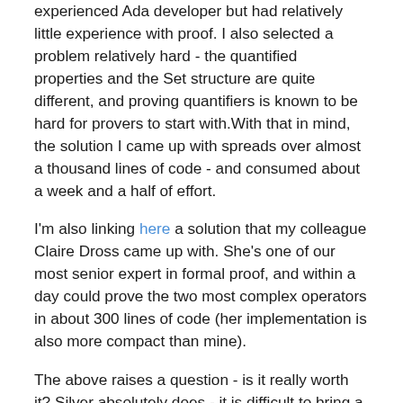experienced Ada developer but had relatively little experience with proof. I also selected a problem relatively hard - the quantified properties and the Set structure are quite different, and proving quantifiers is known to be hard for provers to start with.With that in mind, the solution I came up with spreads over almost a thousand lines of code - and consumed about a week and a half of effort.
I'm also linking here a solution that my colleague Claire Dross came up with. She's one of our most senior expert in formal proof, and within a day could prove the two most complex operators in about 300 lines of code (her implementation is also more compact than mine).
The above raises a question - is it really worth it? Silver absolutely does - it is difficult to bring a case against spending a little bit more effort in exchange for the absolute certainty of never having a buffer overflow or a range check error. There's no doubt that in the time I spent in proving this, I would have spent much more in debugging either testing, or worse, errors in the later stages should this library